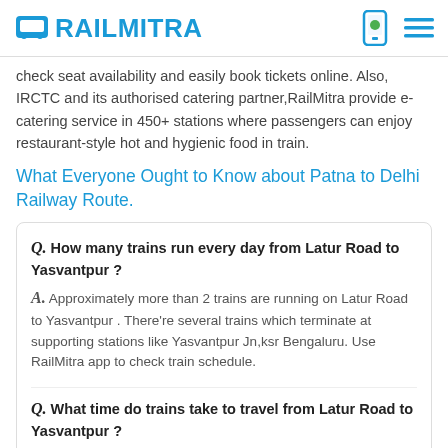RAILMITRA
check seat availability and easily book tickets online. Also, IRCTC and its authorised catering partner,RailMitra provide e-catering service in 450+ stations where passengers can enjoy restaurant-style hot and hygienic food in train.
What Everyone Ought to Know about Patna to Delhi Railway Route.
Q. How many trains run every day from Latur Road to Yasvantpur ?
A. Approximately more than 2 trains are running on Latur Road to Yasvantpur . There're several trains which terminate at supporting stations like Yasvantpur Jn,ksr Bengaluru. Use RailMitra app to check train schedule.
Q. What time do trains take to travel from Latur Road to Yasvantpur ?
A. The fastest train 16584-lur Ypr Express takes 15.30 hr n/a